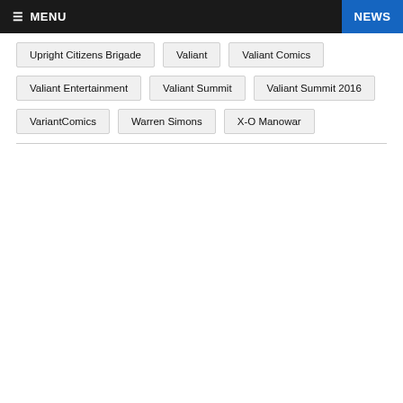≡ MENU   NEWS
Upright Citizens Brigade
Valiant
Valiant Comics
Valiant Entertainment
Valiant Summit
Valiant Summit 2016
VariantComics
Warren Simons
X-O Manowar